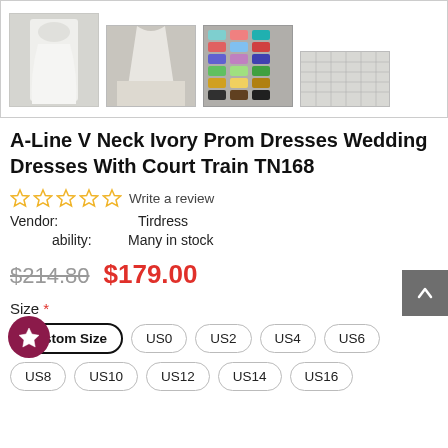[Figure (photo): Product thumbnail images of ivory prom/wedding dress: white dress on mannequin, white dress on floor, color swatch chart, size chart grid]
A-Line V Neck Ivory Prom Dresses Wedding Dresses With Court Train TN168
Write a review
Vendor: Tirdress
Availability: Many in stock
$214.80  $179.00
Size *
Custom Size  US0  US2  US4  US6  US8  US10  US12  US14  US16